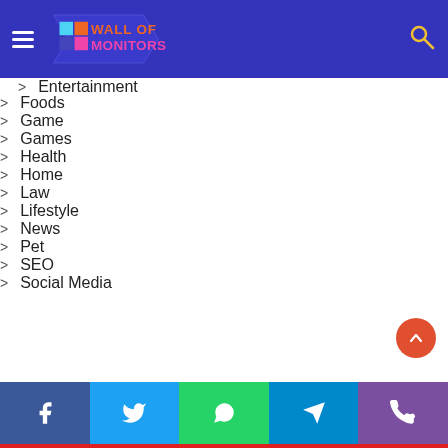Wall of Monitors — navigation menu header
Entertainment (partial, truncated at top)
Foods
Game
Games
Health
Home
Law
Lifestyle
News
Pet
SEO
Social Media
Facebook | Twitter | WhatsApp | Telegram | Phone